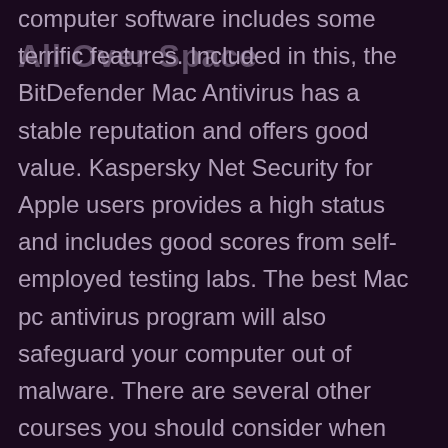All Over Space
computer software includes some terrific features. Included in this, the BitDefender Mac Antivirus has a stable reputation and offers good value. Kaspersky Net Security for Apple users provides a high status and includes good scores from self-employed testing labs. The best Mac pc antivirus program will also safeguard your computer out of malware. There are several other courses you should consider when looking for the perfect malware software. If you would like to protect your entire devices, you should go for Avira Internet Reliability. Its free type automatically comes with the latest spyware and adware detection...